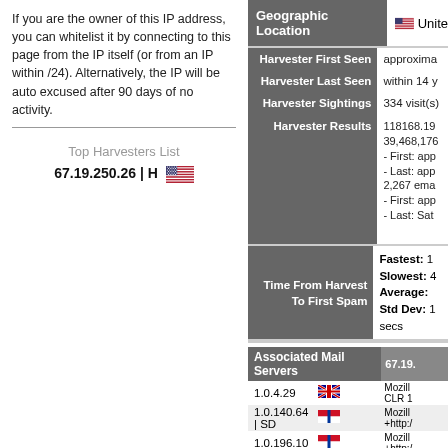If you are the owner of this IP address, you can whitelist it by connecting to this page from the IP itself (or from an IP within /24). Alternatively, the IP will be auto excused after 90 days of no activity.
Top Harvesters List
67.19.250.26 | H
| Field | Value |
| --- | --- |
| Geographic Location | United |
| Harvester First Seen | approxima |
| Harvester Last Seen | within 14 y |
| Harvester Sightings | 334 visit(s) |
| Harvester Results | 118168.19... 39,468,176... - First: app - Last: app 2,267 ema - First: app - Last: Sat |
| Time From Harvest To First Spam | Fastest: 1 Slowest: 4 Average: Std Dev: 1 secs |
| Associated Mail Servers | 1.0.4.29, 1.0.140.64 | SD, 1.0.196.10, 1.0.230.222, 1.1.139.45 |